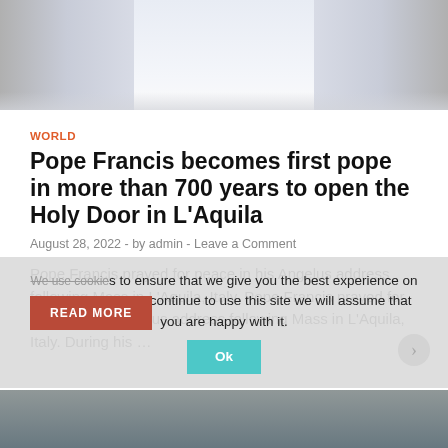[Figure (photo): Top portion of an image showing a figure in white robes, likely Pope Francis, with architectural elements in the background]
WORLD
Pope Francis becomes first pope in more than 700 years to open the Holy Door in L'Aquila
August 28, 2022  -  by admin  -  Leave a Comment
Pope Francis prayed for peace in his Angelus address following Mass in L'Aquila, Italy. Pope Francis prayed for peace in his Angelus address following Mass in L'Aquila, Italy. During his …
READ MORE
We use cookies to ensure that we give you the best experience on our website. If you continue to use this site we will assume that you are happy with it.
Ok
[Figure (photo): Bottom portion of another image, partially visible at the bottom of the page]